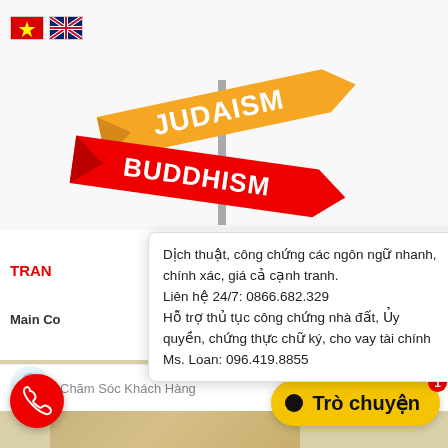[Figure (illustration): Colorful directional street signs reading JUDAISM (orange/yellow) and BUDDHISM (red), crossing at angles like road signposts, on a white/light background]
[Figure (illustration): Vietnamese flag (red with yellow star) and UK flag icons side by side at top left]
TRAN
Main Co
Dịch thuật, công chứng các ngôn ngữ nhanh, chính xác, giá cả cạnh tranh.
Liên hệ 24/7: 0866.682.329
Hỗ trợ thủ tục công chứng nhà đất, Ủy quyền, chứng thực chữ ký, cho vay tài chính
Ms. Loan: 096.419.8855
Chăm Sóc Khách Hàng
ngay bây giờ
Trò chuyện